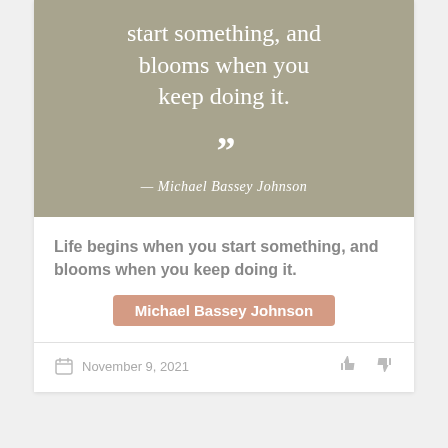[Figure (illustration): Quote card image with gray-green background showing the text 'start something, and blooms when you keep doing it.' with closing quotation marks and attribution '— Michael Bassey Johnson' in white serif font.]
Life begins when you start something, and blooms when you keep doing it.
Michael Bassey Johnson
November 9, 2021